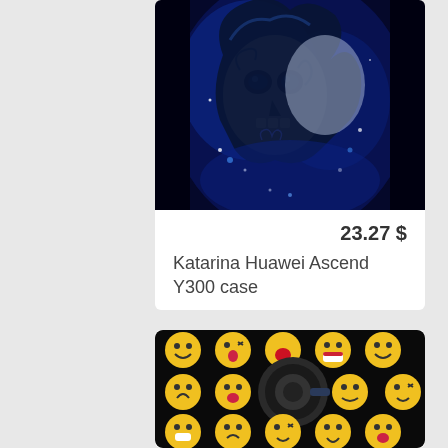[Figure (photo): Phone case with blue skull/Day of the Dead artwork — two faces with skull makeup and blue hair]
23.27 $
Katarina Huawei Ascend Y300 case
[Figure (photo): Phone case with yellow smiley emoji faces pattern on black background, with a dark circular ring holder attached]